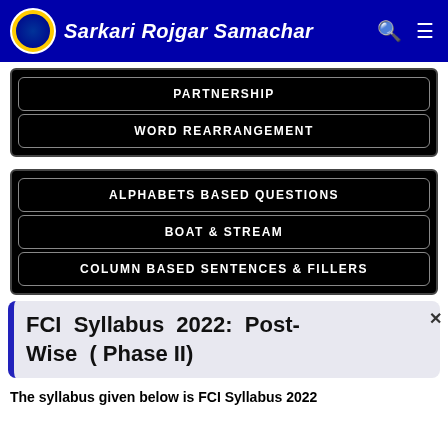Sarkari Rojgar Samachar
PARTNERSHIP
WORD REARRANGEMENT
ALPHABETS BASED QUESTIONS
BOAT & STREAM
COLUMN BASED SENTENCES & FILLERS
FCI Syllabus 2022: Post-Wise ( Phase II)
The syllabus given below is FCI Syllabus 2022